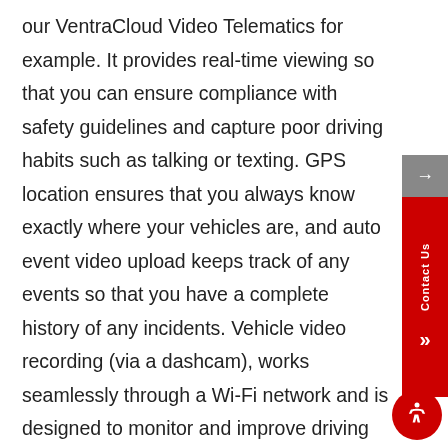our VentraCloud Video Telematics for example. It provides real-time viewing so that you can ensure compliance with safety guidelines and capture poor driving habits such as talking or texting. GPS location ensures that you always know exactly where your vehicles are, and auto event video upload keeps track of any events so that you have a complete history of any incidents. Vehicle video recording (via a dashcam), works seamlessly through a Wi-Fi network and is designed to monitor and improve driving behavior and ultimately reduce costs related to driving incidents. Devices in vehicles that already operate via Wi-Fi can also leverage that connection, which in turn